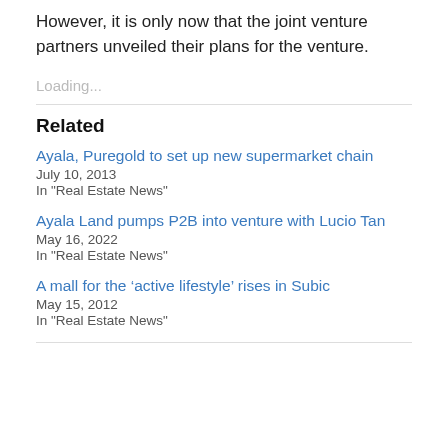However, it is only now that the joint venture partners unveiled their plans for the venture.
Loading...
Related
Ayala, Puregold to set up new supermarket chain
July 10, 2013
In "Real Estate News"
Ayala Land pumps P2B into venture with Lucio Tan
May 16, 2022
In "Real Estate News"
A mall for the ‘active lifestyle’ rises in Subic
May 15, 2012
In "Real Estate News"